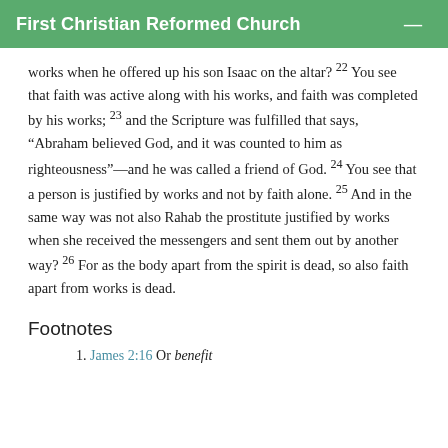First Christian Reformed Church
works when he offered up his son Isaac on the altar? 22 You see that faith was active along with his works, and faith was completed by his works; 23 and the Scripture was fulfilled that says, “Abraham believed God, and it was counted to him as righteousness”—and he was called a friend of God. 24 You see that a person is justified by works and not by faith alone. 25 And in the same way was not also Rahab the prostitute justified by works when she received the messengers and sent them out by another way? 26 For as the body apart from the spirit is dead, so also faith apart from works is dead.
Footnotes
1. James 2:16 Or benefit